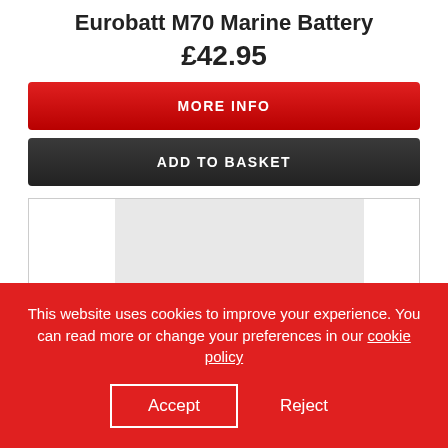Eurobatt M70 Marine Battery
£42.95
MORE INFO
ADD TO BASKET
[Figure (other): Product image placeholder area with gray center block and white side panels, bordered box]
This website uses cookies to improve your experience. You can read more or change your preferences in our cookie policy
Accept
Reject